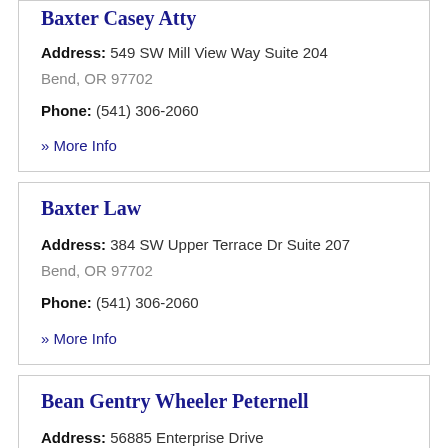Baxter Casey Atty
Address: 549 SW Mill View Way Suite 204
Bend, OR 97702
Phone: (541) 306-2060
» More Info
Baxter Law
Address: 384 SW Upper Terrace Dr Suite 207
Bend, OR 97702
Phone: (541) 306-2060
» More Info
Bean Gentry Wheeler Peternell
Address: 56885 Enterprise Drive